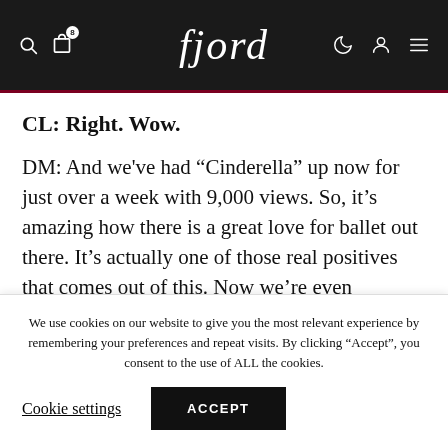fjord
CL: Right. Wow.
DM: And we've had “Cinderella” up now for just over a week with 9,000 views. So, it’s amazing how there is a great love for ballet out there. It’s actually one of those real positives that comes out of this. Now we’re even thinking about when
We use cookies on our website to give you the most relevant experience by remembering your preferences and repeat visits. By clicking “Accept”, you consent to the use of ALL the cookies.
Cookie settings  ACCEPT